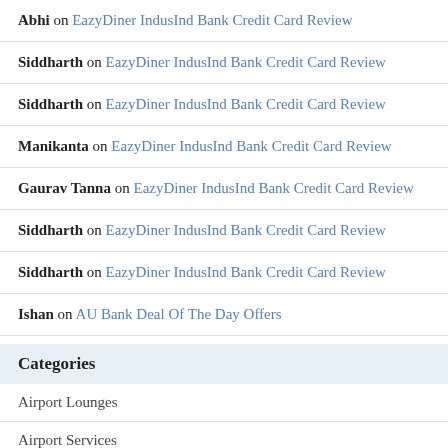Abhi on EazyDiner IndusInd Bank Credit Card Review
Siddharth on EazyDiner IndusInd Bank Credit Card Review
Siddharth on EazyDiner IndusInd Bank Credit Card Review
Manikanta on EazyDiner IndusInd Bank Credit Card Review
Gaurav Tanna on EazyDiner IndusInd Bank Credit Card Review
Siddharth on EazyDiner IndusInd Bank Credit Card Review
Siddharth on EazyDiner IndusInd Bank Credit Card Review
Ishan on AU Bank Deal Of The Day Offers
Categories
Airport Lounges
Airport Services
American Express India